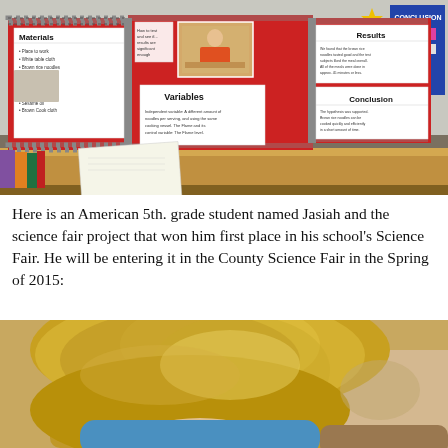[Figure (photo): A science fair project display board on a classroom table. The red tri-fold board shows sections labeled Materials, Variables, Results, and Conclusion. A small photo of a student working is pinned to the center panel. A paper lies on the wooden table in front of the board. A blue 'Conclusion' board and yellow star decoration are visible in the background to the right.]
Here is an American 5th. grade student named Jasiah and the science fair project that won him first place in his school's Science Fair. He will be entering it in the County Science Fair in the Spring of 2015:
[Figure (photo): Close-up photo of a student with long blonde/golden hair seen from behind, wearing a light blue shirt. Another student in a brown shirt is partially visible to the right. A beige wall is visible in the background.]